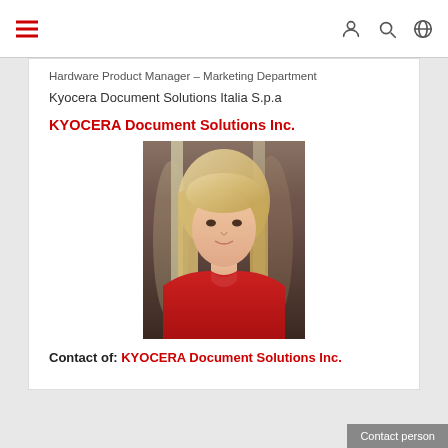Navigation bar with hamburger menu and icons
Hardware Product Manager – Marketing Department
Kyocera Document Solutions Italia S.p.a
KYOCERA Document Solutions Inc.
[Figure (photo): Portrait photo of a woman with blonde hair wearing a red top, photographed against a dark background with lighting effects]
Contact of: KYOCERA Document Solutions Inc.
Contact person